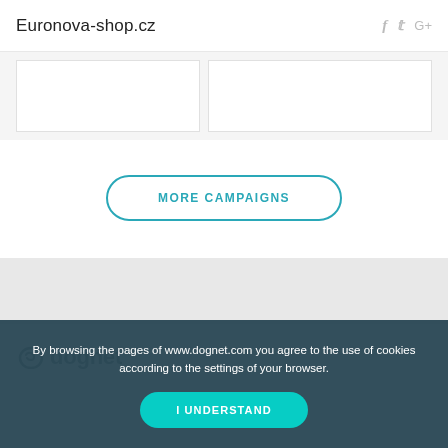Euronova-shop.cz
[Figure (screenshot): Two white content panels side by side on a light grey background]
MORE CAMPAIGNS
[Figure (screenshot): Grey banner section]
[Figure (logo): Dognet logo with icon and text]
By browsing the pages of www.dognet.com you agree to the use of cookies according to the settings of your browser.
I UNDERSTAND